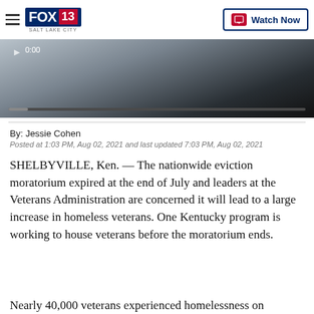FOX 13 SALT LAKE CITY | Watch Now
[Figure (screenshot): Video player with dark gradient background, showing timecode 0:00 and a progress bar at the bottom]
By: Jessie Cohen
Posted at 1:03 PM, Aug 02, 2021 and last updated 7:03 PM, Aug 02, 2021
SHELBYVILLE, Ken. — The nationwide eviction moratorium expired at the end of July and leaders at the Veterans Administration are concerned it will lead to a large increase in homeless veterans. One Kentucky program is working to house veterans before the moratorium ends.
Nearly 40,000 veterans experienced homelessness on